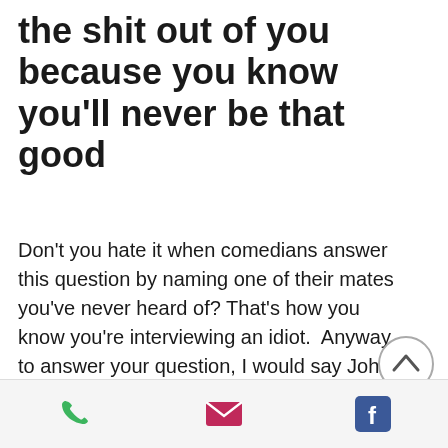the shit out of you because you know you'll never be that good
Don't you hate it when comedians answer this question by naming one of their mates you've never heard of? That's how you know you're interviewing an idiot.  Anyway, to answer your question, I would say John Collins, a mate of mine from Swansea. He can literally make you laugh till you ache, which is a lot harder than it sounds.
[Figure (other): Circular scroll-to-top button with an upward chevron arrow, grey border on white background]
Phone icon, Email icon, Facebook icon